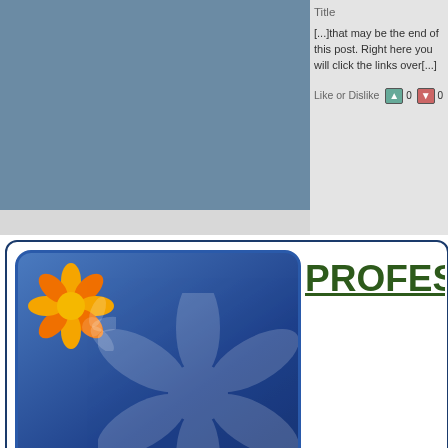Title
[...]that may be the end of this post. Right here you will click the links over[...]
Like or Dislike
[Figure (logo): Professional Advice logo with flower graphic and blue square background]
PROFESSIONAL ADVI...
Upload Your Resume and Get
Daily Job Search Advice | Career Advancement Tips | Informative Articles on Life Lessons And much more...
Email Address
Upload Resume    Choose File  No file chosen